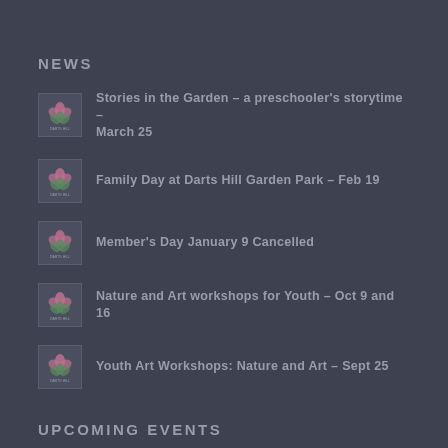NEWS
Stories in the Garden – a preschooler's storytime – March 25
Family Day at Darts Hill Garden Park – Feb 19
Member's Day January 9 Cancelled
Nature and Art workshops for Youth – Oct 9 and 16
Youth Art Workshops: Nature and Art – Sept 25
UPCOMING EVENTS